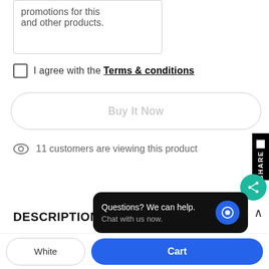promotions for this and other products.
I agree with the Terms & conditions
Buy It Now
11 customers are viewing this product
DESCRIPTION
Classic Fit
Questions? We can help. Chat with us now.
White
Cart